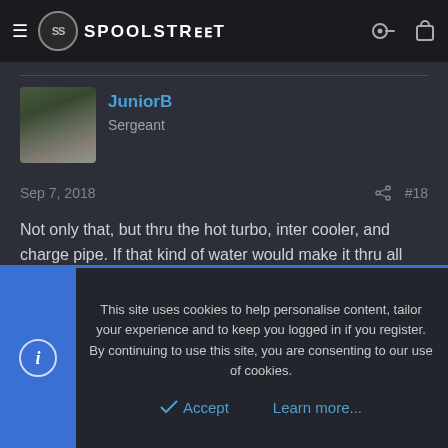SpoolStreet
[Figure (screenshot): User avatar photo showing a car parked on a forest road]
JuniorB
Sergeant
Sep 7, 2018   #18
Not only that, but thru the hot turbo, inter cooler, and charge pipe. If that kind of water would make it thru all that, it would seem it could breakdown the filter, which would make its way to/ threw the comp wheel. A design flaw with this repacution, would have these cars lined up at the dealer. Sometimes no
This site uses cookies to help personalise content, tailor your experience and to keep you logged in if you register.
By continuing to use this site, you are consenting to our use of cookies.